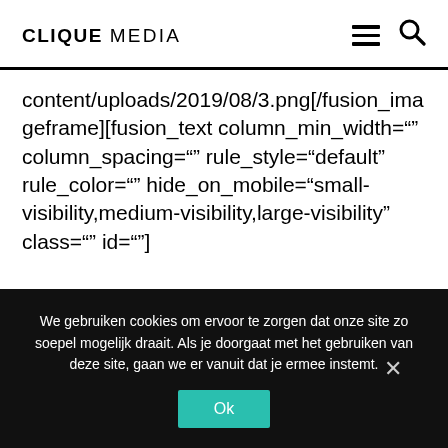CLIQUE MEDIA
content/uploads/2019/08/3.png[/fusion_imageframe][fusion_text column_min_width="" column_spacing="" rule_style="default" rule_color="" hide_on_mobile="small-visibility,medium-visibility,large-visibility" class="" id=""]
We gebruiken cookies om ervoor te zorgen dat onze site zo soepel mogelijk draait. Als je doorgaat met het gebruiken van deze site, gaan we er vanuit dat je ermee instemt.